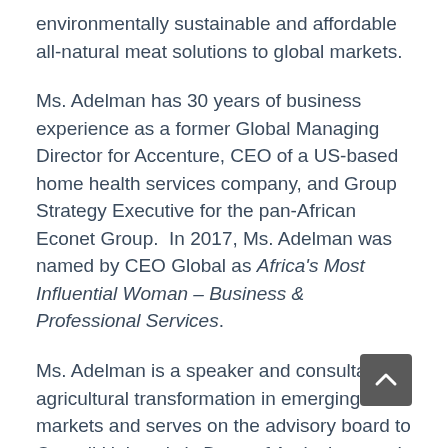environmentally sustainable and affordable all-natural meat solutions to global markets.
Ms. Adelman has 30 years of business experience as a former Global Managing Director for Accenture, CEO of a US-based home health services company, and Group Strategy Executive for the pan-African Econet Group.  In 2017, Ms. Adelman was named by CEO Global as Africa's Most Influential Woman – Business & Professional Services.
Ms. Adelman is a speaker and consultant on agricultural transformation in emerging markets and serves on the advisory board to Cornell University's Dean of Agriculture and Life Sciences.
Ms. Adelman serves on the Boards of Directors